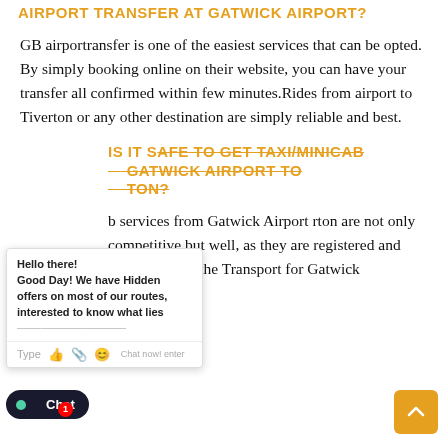AIRPORT TRANSFER AT GATWICK AIRPORT?
GB airportransfer is one of the easiest services that can be opted. By simply booking online on their website, you can have your transfer all confirmed within few minutes.Rides from airport to Tiverton or any other destination are simply reliable and best.
IS IT SAFE TO GET TAXI/MINICAB GATWICK AIRPORT TO TON?
b services from Gatwick Airport rton are not only competitive but well, as they are registered and recognized by the Transport for Gatwick authorities.
[Figure (screenshot): Chat popup widget showing 'Hello there! Good Day! We have Hidden offers on most of our routes, interested to know what lies...' with a message input footer and icons.]
[Figure (screenshot): Chat Now button in dark navy with green dot icon and red notification badge showing 1.]
[Figure (screenshot): Orange scroll-to-top button in bottom right corner.]